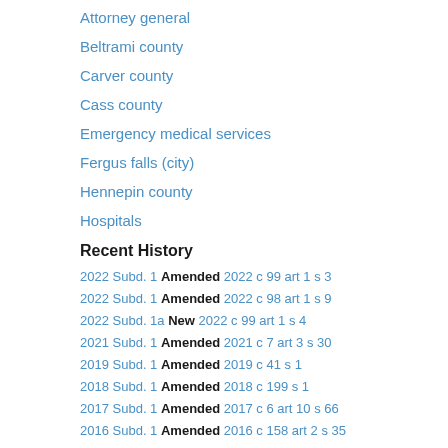Attorney general
Beltrami county
Carver county
Cass county
Emergency medical services
Fergus falls (city)
Hennepin county
Hospitals
Recent History
2022 Subd. 1 Amended 2022 c 99 art 1 s 3
2022 Subd. 1 Amended 2022 c 98 art 1 s 9
2022 Subd. 1a New 2022 c 99 art 1 s 4
2021 Subd. 1 Amended 2021 c 7 art 3 s 30
2019 Subd. 1 Amended 2019 c 41 s 1
2018 Subd. 1 Amended 2018 c 199 s 1
2017 Subd. 1 Amended 2017 c 6 art 10 s 66
2016 Subd. 1 Amended 2016 c 158 art 2 s 35
2015 Subd. 1 Amended 2015 c 71 art 2 s 5